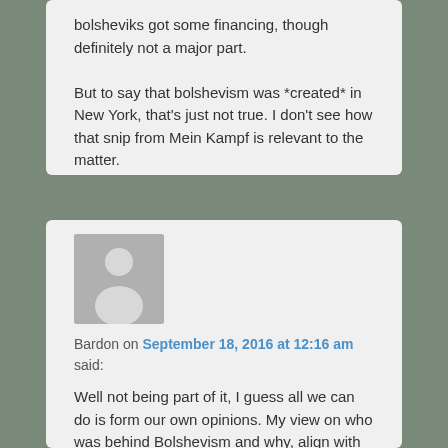bolsheviks got some financing, though definitely not a major part.

But to say that bolshevism was *created* in New York, that's just not true. I don't see how that snip from Mein Kampf is relevant to the matter.
[Figure (illustration): Default user avatar — grey silhouette of a person on grey background]
Bardon on September 18, 2016 at 12:16 am said:
Well not being part of it, I guess all we can do is form our own opinions. My view on who was behind Bolshevism and why, align with the often persecuted but never